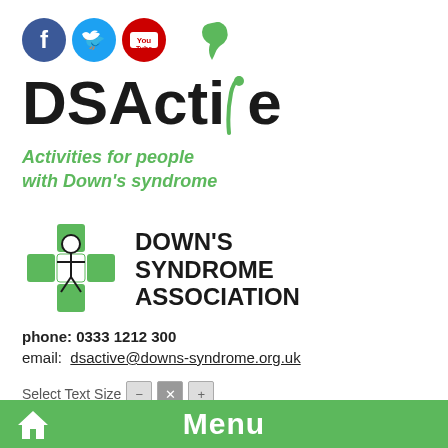[Figure (logo): Social media icons: Facebook (blue circle with f), Twitter (blue circle with bird), YouTube (red circle with play button)]
[Figure (logo): DSActive logo — large bold text 'DSActive' with a green stylized figure/plant graphic, and tagline 'Activities for people with Down's syndrome' in green italic]
[Figure (logo): Down's Syndrome Association logo — green puzzle-piece cross icon with a person figure, next to bold text 'DOWN'S SYNDROME ASSOCIATION']
phone: 0333 1212 300
email: dsactive@downs-syndrome.org.uk
Select Text Size — [minus] [x] [plus]
Search …
Menu